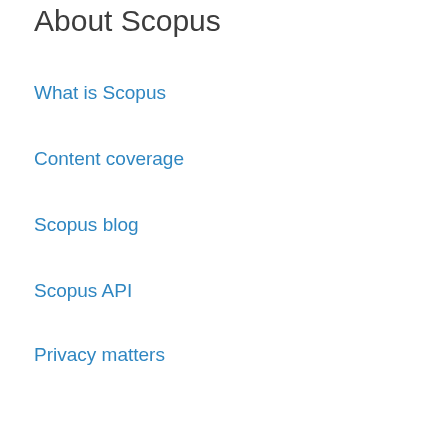About Scopus
What is Scopus
Content coverage
Scopus blog
Scopus API
Privacy matters
Language
Русский язык
Customer Service